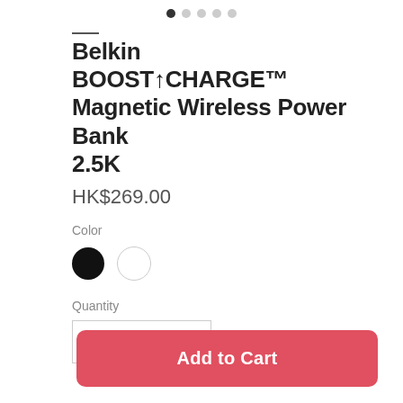[Figure (other): Pagination dots indicator: 5 dots with the first dot filled/active (black) and remaining dots grey]
Belkin BOOST↑CHARGE™ Magnetic Wireless Power Bank 2.5K
HK$269.00
Color
[Figure (other): Two color selector circles: black (selected) and white]
Quantity
[Figure (other): Quantity input box showing the number 1]
Add to Cart